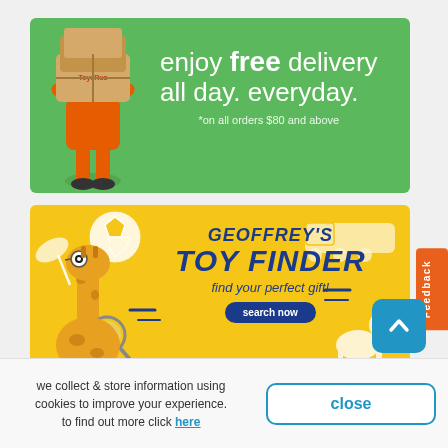[Figure (illustration): Green promotional banner for Toys R Us free delivery offer. Shows a character holding stacked boxes in the left, with text 'enjoy free delivery all day. everyday.' and subtext '*on all orders $80 and above' on the right.]
[Figure (illustration): Yellow promotional banner for Geoffrey's Toy Finder. Shows giraffe mascot on left, toy icons (soccer ball, lamp, train, dinosaur), large bold text 'GEOFFREY'S TOY FINDER' and 'find your perfect gift!' with a 'search now' button. Orange Feedback tab on right edge.]
we collect & store information using cookies to improve your experience. to find out more click here
close